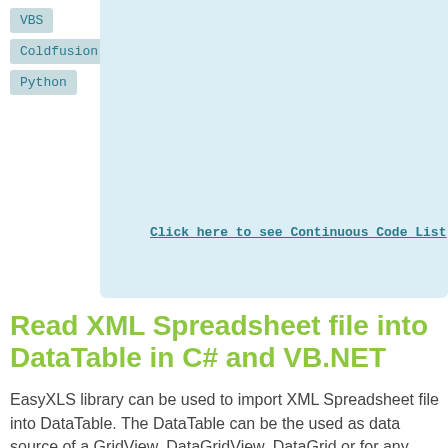VBS
Coldfusion
Python
Click here to see Continuous Code List
Read XML Spreadsheet file into DataTable in C# and VB.NET
EasyXLS library can be used to import XML Spreadsheet file into DataTable. The DataTable can be the used as data source of a GridView, DataGridView, DataGrid or for any other purposes.
The data from the XML Spreadsheet file can be read using ExcelDocument.easy_ReadXMLSpreadsheet_AsDataSet method and then the DataTable can be obtained from the imported DataSet.